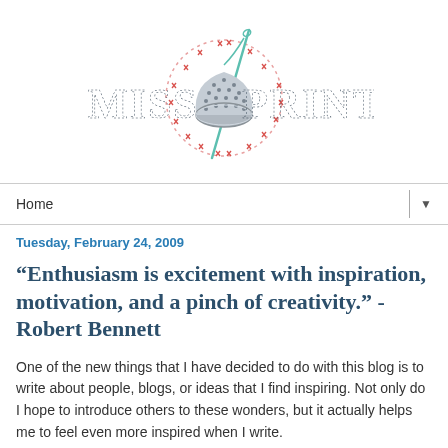[Figure (logo): Miss Print blog logo with dotted/stitched text reading MISS PRINT and a sewing thimble with needle and thread in the center, surrounded by a dotted circular border with X stitches in red/pink]
Home
Tuesday, February 24, 2009
“Enthusiasm is excitement with inspiration, motivation, and a pinch of creativity.” - Robert Bennett
One of the new things that I have decided to do with this blog is to write about people, blogs, or ideas that I find inspiring. Not only do I hope to introduce others to these wonders, but it actually helps me to feel even more inspired when I write.